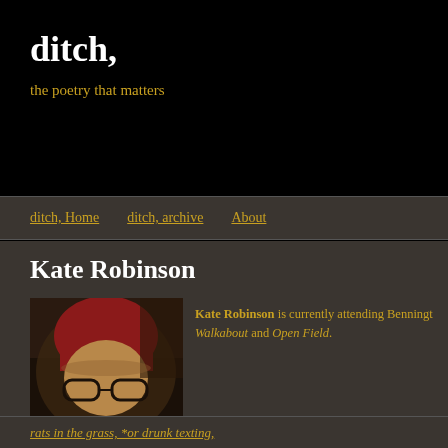ditch,
the poetry that matters
ditch, Home   ditch, archive   About
Kate Robinson
[Figure (photo): Photo of Kate Robinson wearing a red beanie hat and glasses]
Kate Robinson is currently attending Bennington... Walkabout and Open Field.
rats in the grass, *or drunk texting,